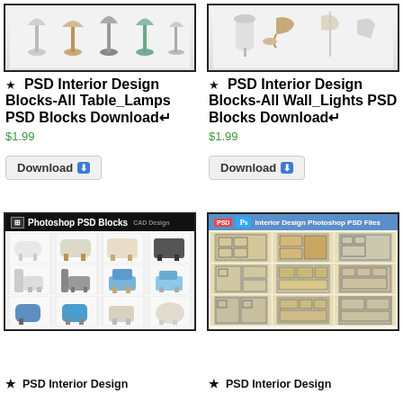[Figure (illustration): Product thumbnail for PSD Interior Design Blocks - All Table Lamps, showing various lamp silhouettes on white background with black border]
★  PSD Interior Design Blocks-All Table_Lamps PSD Blocks Download↵
$1.99
Download ⬇
[Figure (illustration): Product thumbnail for PSD Interior Design Blocks - All Wall Lights, showing various wall light silhouettes on white background with black border]
★  PSD Interior Design Blocks-All Wall_Lights PSD Blocks Download↵
$1.99
Download ⬇
[Figure (illustration): Photoshop PSD Blocks product image showing a grid of chair/armchair illustrations in various styles on white background with black border header]
[Figure (illustration): Interior Design Photoshop PSD Files product image showing floor plan layouts in beige/tan tones with black border and blue header]
★  PSD Interior Design
★  PSD Interior Design